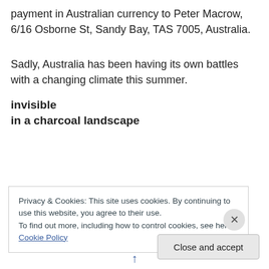payment in Australian currency to Peter Macrow, 6/16 Osborne St, Sandy Bay, TAS 7005, Australia.
Sadly, Australia has been having its own battles with a changing climate this summer.
invisible
in a charcoal landscape
Privacy & Cookies: This site uses cookies. By continuing to use this website, you agree to their use.
To find out more, including how to control cookies, see here: Cookie Policy